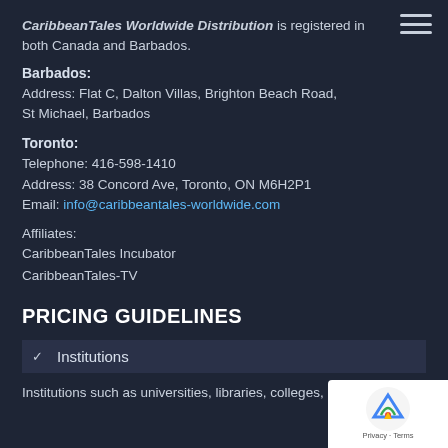CaribbeanTales Worldwide Distribution is registered in both Canada and Barbados.
Barbados:
Address: Flat C, Dalton Villas, Brighton Beach Road, St Michael, Barbados
Toronto:
Telephone: 416-598-1410
Address: 38 Concord Ave, Toronto, ON M6H2P1
Email: info@caribbeantales-worldwide.com
Affiliates:
CaribbeanTales Incubator
CaribbeanTales-TV
PRICING GUIDELINES
Institutions
Institutions such as universities, libraries, colleges,